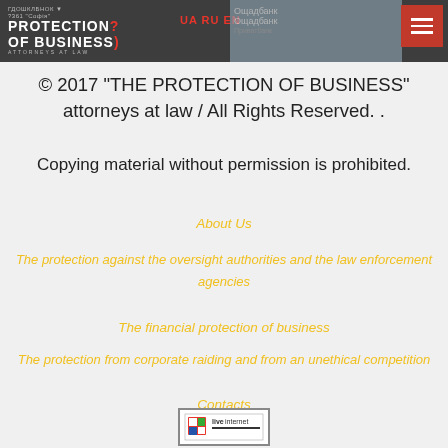[Figure (screenshot): Website header with logo 'Protection of Business - Attorneys at Law', language switcher UA RU EN, map background, and red hamburger menu button]
© 2017 "THE PROTECTION OF BUSINESS" attorneys at law / All Rights Reserved. .
Copying material without permission is prohibited.
About Us
The protection against the oversight authorities and the law enforcement agencies
The financial protection of business
The protection from corporate raiding and from an unethical competition
Contacts
[Figure (logo): live internet logo/widget box at bottom center]